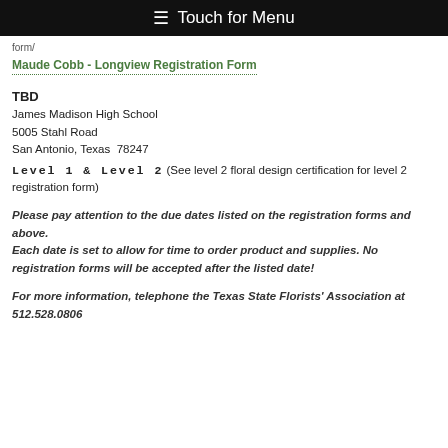≡ Touch for Menu
form/
Maude Cobb - Longview Registration Form
TBD
James Madison High School
5005 Stahl Road
San Antonio, Texas  78247
Level 1 & Level 2 (See level 2 floral design certification for level 2 registration form)
Please pay attention to the due dates listed on the registration forms and above.
Each date is set to allow for time to order product and supplies. No registration forms will be accepted after the listed date!
For more information, telephone the Texas State Florists' Association at 512.528.0806